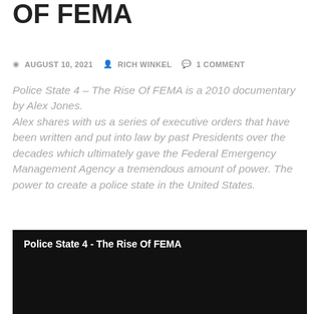OF FEMA
AUGUST 10, 2021   RICH WINKEL   1 COMMENT
Police State 4 – The Rise Of FEMA is a 2010 documentary by Alex Jones. Alex shares with us a series of executive orders that have been written and put into law by past Presidents over the decades which ultimately gave the Federal Emergency Management Agency a tremendous amount of power. The power to create a police state in the United States.
[Figure (screenshot): Black video embed box with white bold text reading 'Police State 4 - The Rise Of FEMA']